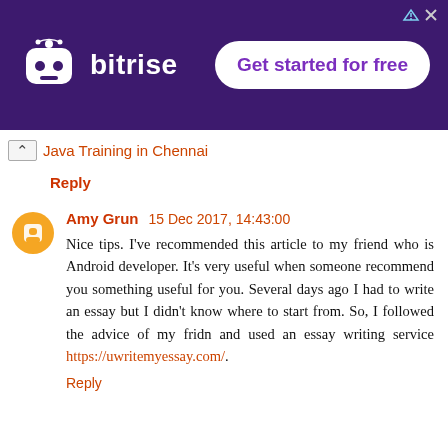[Figure (other): Bitrise advertisement banner with robot logo and 'Get started for free' button on purple background]
Java Training in Chennai
Reply
Amy Grun  15 Dec 2017, 14:43:00
Nice tips. I've recommended this article to my friend who is Android developer. It's very useful when someone recommend you something useful for you. Several days ago I had to write an essay but I didn't know where to start from. So, I followed the advice of my fridn and used an essay writing service https://uwritemyessay.com/.
Reply